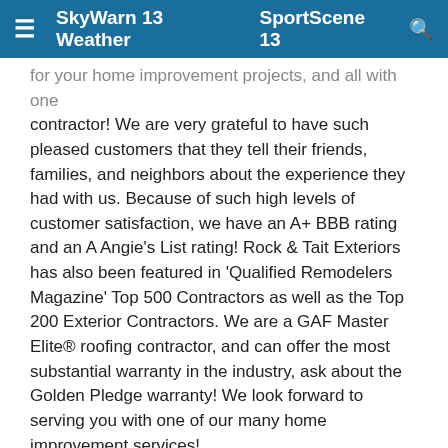≡  SkyWarn 13 Weather  SportScene 13  🔍
for your home improvement projects, and all with one contractor! We are very grateful to have such pleased customers that they tell their friends, families, and neighbors about the experience they had with us. Because of such high levels of customer satisfaction, we have an A+ BBB rating and an A Angie's List rating! Rock & Tait Exteriors has also been featured in 'Qualified Remodelers Magazine' Top 500 Contractors as well as the Top 200 Exterior Contractors. We are a GAF Master Elite® roofing contractor, and can offer the most substantial warranty in the industry, ask about the Golden Pledge warranty! We look forward to serving you with one of our many home improvement services!
Rock & Tait Exteriors FAQ
Do you give free estimates?